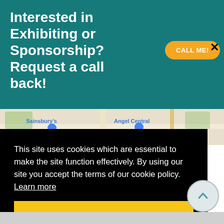Interested in Exhibiting or Sponsorship? Request a call back!
[Figure (infographic): Orange rounded button labeled CALL ME! on teal background, with a black X close button to the right]
[Figure (map): Google Maps excerpt showing Sainsbury's, Angel Central, The Earl, Noel Rd, and Uemine Lo labels]
This site uses cookies which are essential to make the site function effectively. By using our site you accept the terms of our cookie policy.  Learn more
[Figure (infographic): Yellow Accept cookies button]